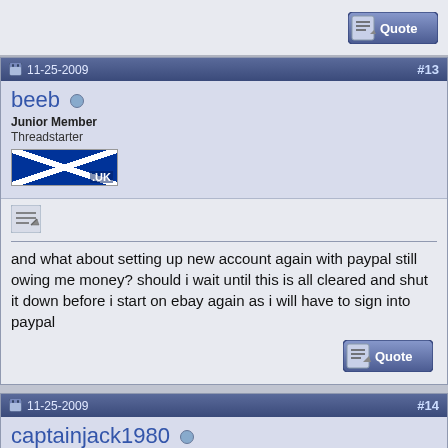[Figure (screenshot): Forum post quote button at top right of page]
11-25-2009  #13
beeb
Junior Member
Threadstarter
[Figure (illustration): Scotland flag image with .uk text]
[Figure (other): Edit/pencil icon]
and what about setting up new account again with paypal still owing me money? should i wait until this is all cleared and shut it down before i start on ebay again as i will have to sign into paypal
[Figure (screenshot): Quote button]
11-25-2009  #14
captainjack1980
Senior Member
[Figure (illustration): UK flag image with .uk text]
[Figure (other): Edit/pencil icon]
Just create a new Windows user account for your New Ebay/PayPal account......